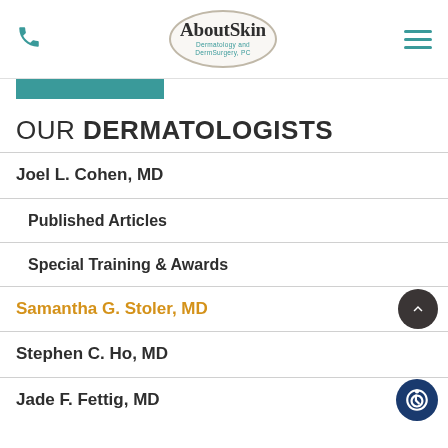AboutSkin Dermatology and DermSurgery, PC
OUR DERMATOLOGISTS
Joel L. Cohen, MD
Published Articles
Special Training & Awards
Samantha G. Stoler, MD
Stephen C. Ho, MD
Jade F. Fettig, MD